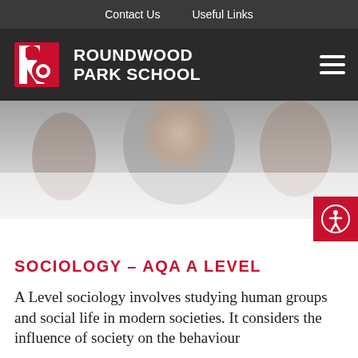Contact Us   Useful Links
[Figure (logo): Roundwood Park School logo — red and white RP lettermark on dark background, with white bold text reading ROUNDWOOD PARK SCHOOL and a hamburger menu icon on the right]
[Figure (photo): Hero banner photo showing smiling young woman in a crowd, blurred/faded with grey overlay. Accessibility icon button (person in circle) in red square overlay at bottom right.]
SOCIOLOGY – AQA A LEVEL
A Level sociology involves studying human groups and social life in modern societies. It considers the influence of society on the behaviour